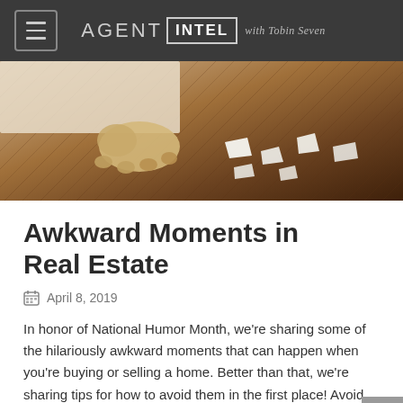AGENT INTEL with Tobin Seven
[Figure (photo): Overhead view of a dog standing on a herringbone-patterned wooden floor next to torn white paper]
Awkward Moments in Real Estate
April 8, 2019
In honor of National Humor Month, we're sharing some of the hilariously awkward moments that can happen when you're buying or selling a home. Better than that, we're sharing tips for how to avoid them in the first place! Avoid surprises. Surprises are great—for your